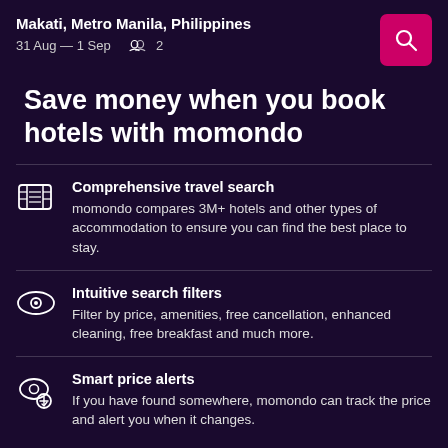Makati, Metro Manila, Philippines
31 Aug — 1 Sep   👥 2
Save money when you book hotels with momondo
Comprehensive travel search
momondo compares 3M+ hotels and other types of accommodation to ensure you can find the best place to stay.
Intuitive search filters
Filter by price, amenities, free cancellation, enhanced cleaning, free breakfast and much more.
Smart price alerts
If you have found somewhere, momondo can track the price and alert you when it changes.